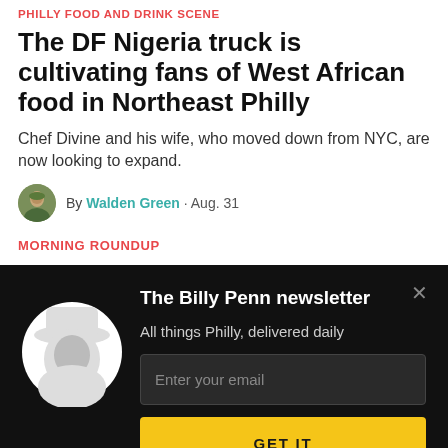PHILLY FOOD AND DRINK SCENE
The DF Nigeria truck is cultivating fans of West African food in Northeast Philly
Chef Divine and his wife, who moved down from NYC, are now looking to expand.
By Walden Green · Aug. 31
MORNING ROUNDUP
The Billy Penn newsletter
All things Philly, delivered daily
Enter your email
GET IT